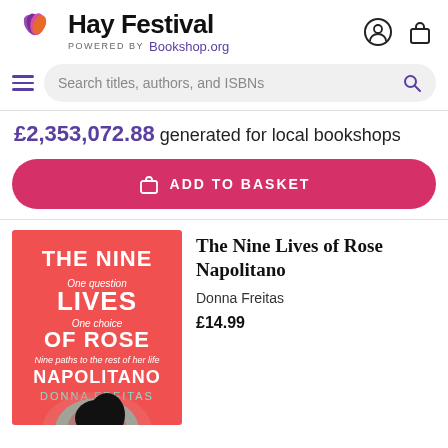Hay Festival — POWERED BY Bookshop.org
£2,353,072.88 generated for local bookshops
ADD TO BASKET
[Figure (photo): Book cover: The Nine Lives of Rose Napolitano by Donna Freitas — red/coral background with bold white text and illustrated silhouette]
The Nine Lives of Rose Napolitano
Donna Freitas
£14.99